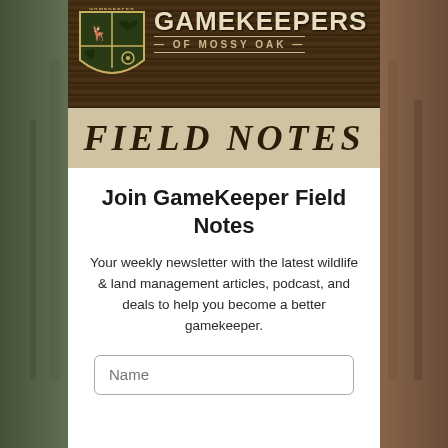[Figure (logo): Gamekeepers of Mossy Oak Field Notes banner image with shield logo, dark wood background, and 'FIELD NOTES' text in serif font on a tan/cream band]
Join GameKeeper Field Notes
Your weekly newsletter with the latest wildlife & land management articles, podcast, and deals to help you become a better gamekeeper.